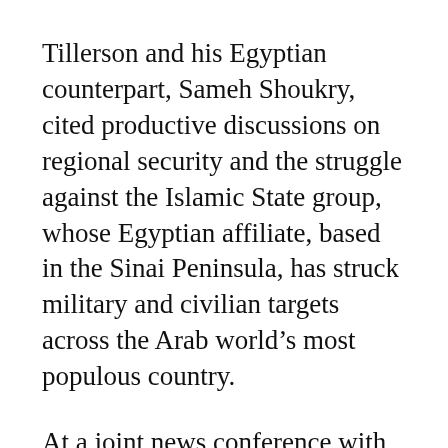Tillerson and his Egyptian counterpart, Sameh Shoukry, cited productive discussions on regional security and the struggle against the Islamic State group, whose Egyptian affiliate, based in the Sinai Peninsula, has struck military and civilian targets across the Arab world’s most populous country.
At a joint news conference with Shoukry, Tillerson said Egypt was an important part of the anti-IS coalition and that Washington was “committed to strengthening this partnership in